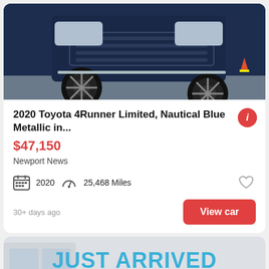[Figure (photo): Dark navy blue Toyota 4Runner SUV front grille and wheel viewed from low angle]
2020 Toyota 4Runner Limited, Nautical Blue Metallic in...
$47,150
Newport News
2020   25,468 Miles
30+ days ago
View car
[Figure (photo): Car listing placeholder image with text JUST ARRIVED PHOTOS COMING SOON overlaid on covered car silhouette]
See photo >